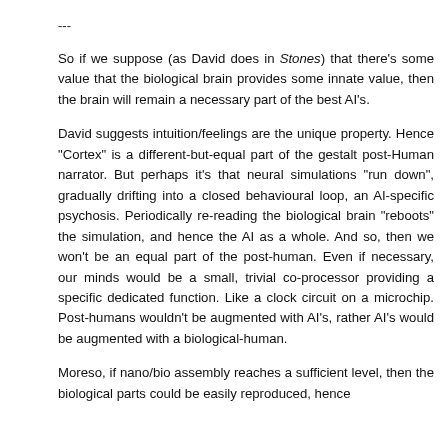---
So if we suppose (as David does in Stones) that there's some value that the biological brain provides some innate value, then the brain will remain a necessary part of the best AI's.
David suggests intuition/feelings are the unique property. Hence "Cortex" is a different-but-equal part of the gestalt post-Human narrator. But perhaps it's that neural simulations "run down", gradually drifting into a closed behavioural loop, an AI-specific psychosis. Periodically re-reading the biological brain "reboots" the simulation, and hence the AI as a whole. And so, then we won't be an equal part of the post-human. Even if necessary, our minds would be a small, trivial co-processor providing a specific dedicated function. Like a clock circuit on a microchip. Post-humans wouldn't be augmented with AI's, rather AI's would be augmented with a biological-human.
Moreso, if nano/bio assembly reaches a sufficient level, then the biological parts could be easily reproduced, hence